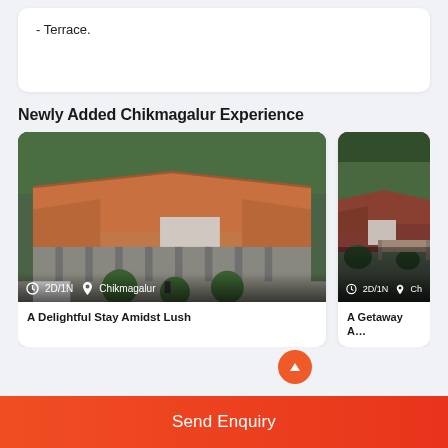- Terrace.
Newly Added Chikmagalur Experience
[Figure (photo): Aerial view of a villa/resort with terracotta tiled roof, surrounded by trees. Overlay shows: clock icon, 2D/1N, location pin, Chikmagalur]
A Delightful Stay Amidst Lush
[Figure (photo): Aerial view of another resort building with red tiled roof and greenery. Overlay shows: clock icon, 2D/1N, location pin, Ch...]
A Getaway A...
Send Enquiry